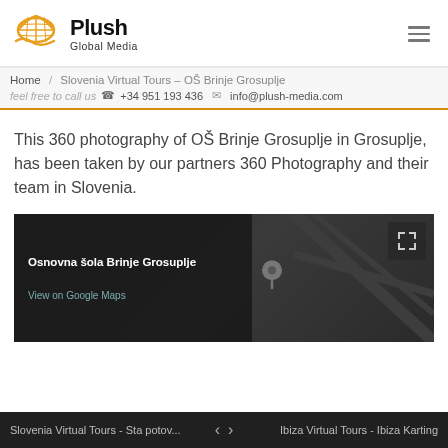[Figure (logo): Plush Global Media logo with orange globe/hat icon and black bold text]
Home / Slovenia Virtual Tours – OŠ Brinje Grosuplje
feel free to call us  +34 951 193 436   info@plush-media.com
This 360 photography of OŠ Brinje Grosuplje in Grosuplje, has been taken by our partners 360 Photography and their team in Slovenia.
[Figure (screenshot): Embedded Google Maps widget showing Osnovna šola Brinje Grosuplje location with dark overlay panel on left, pin icon center-left, fullscreen icon top-right]
Slovenia Virtual Tours - Sta potov...
Ibiza Virtual Tours - Ibiza Karting